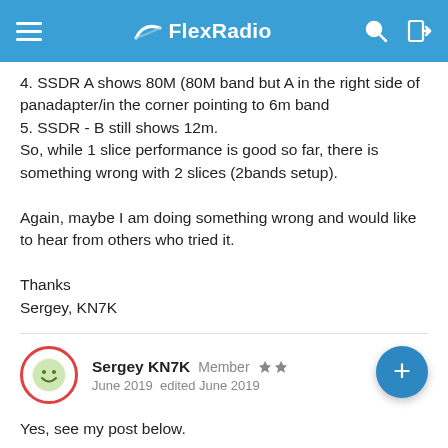FlexRadio
4. SSDR A shows 80M (80M band but A in the right side of panadapter/in the corner pointing to 6m band
5. SSDR - B still shows 12m.
So, while 1 slice performance is good so far, there is something wrong with 2 slices (2bands setup).

Again, maybe I am doing something wrong and would like to hear from others who tried it.

Thanks
Sergey, KN7K
Sergey KN7K  Member  ★★
June 2019  edited June 2019
Yes, see my post below.